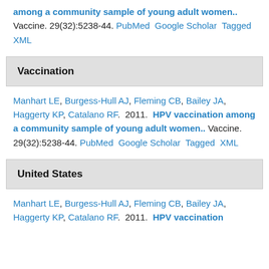among a community sample of young adult women.. Vaccine. 29(32):5238-44. PubMed Google Scholar Tagged XML
Vaccination
Manhart LE, Burgess-Hull AJ, Fleming CB, Bailey JA, Haggerty KP, Catalano RF. 2011. HPV vaccination among a community sample of young adult women.. Vaccine. 29(32):5238-44. PubMed Google Scholar Tagged XML
United States
Manhart LE, Burgess-Hull AJ, Fleming CB, Bailey JA, Haggerty KP, Catalano RF. 2011. HPV vaccination